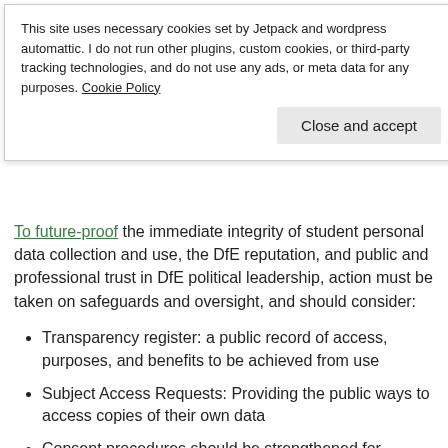This site uses necessary cookies set by Jetpack and wordpress automattic. I do not run other plugins, custom cookies, or third-party tracking technologies, and do not use any ads, or meta data for any purposes. Cookie Policy
To future-proof the immediate integrity of student personal data collection and use, the DfE reputation, and public and professional trust in DfE political leadership, action must be taken on safeguards and oversight, and should consider:
Transparency register: a public record of access, purposes, and benefits to be achieved from use
Subject Access Requests: Providing the public ways to access copies of their own data
Consent procedures should be strengthened for collection and cannot say one thing, and do another
Ability to withdraw consent from secondary purposes